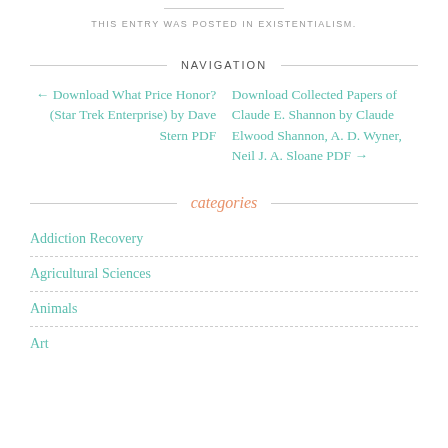THIS ENTRY WAS POSTED IN EXISTENTIALISM.
NAVIGATION
← Download What Price Honor? (Star Trek Enterprise) by Dave Stern PDF
Download Collected Papers of Claude E. Shannon by Claude Elwood Shannon, A. D. Wyner, Neil J. A. Sloane PDF →
categories
Addiction Recovery
Agricultural Sciences
Animals
Art